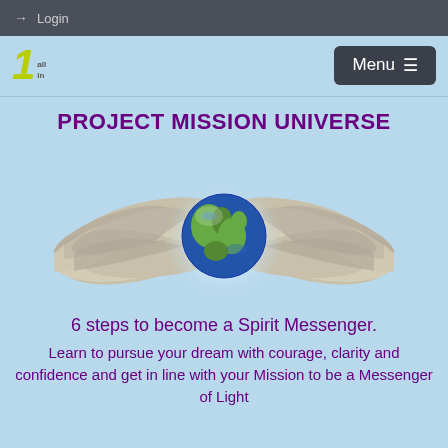Login
[Figure (logo): 1 all in logo with yellow/green stylized number 1 and text 'all in']
PROJECT MISSION UNIVERSE
[Figure (illustration): Globe with angel wings spread wide, glowing light behind globe on light blue background]
6 steps to become a Spirit Messenger.
Learn to pursue your dream with courage, clarity and confidence and get in line with your Mission to be a Messenger of Light